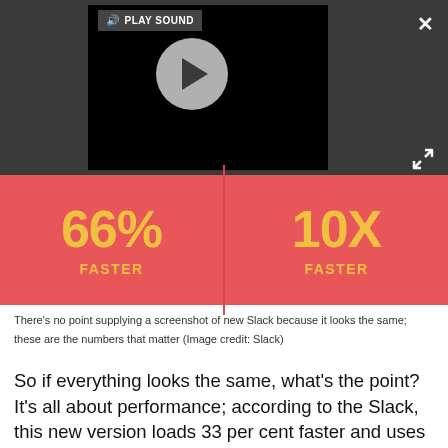[Figure (screenshot): Video player overlay on dark grey background showing a play button circle in center, 'PLAY SOUND' label in top-left of video, an X close button top-right, and an expand icon bottom-right.]
[Figure (infographic): Red/pink infographic strip showing two statistics side by side: '66%' with 'FASTER' label on the left, and '10X' with 'FASTER' label on the right. Numbers and labels are in golden yellow on coral red background.]
There's no point supplying a screenshot of new Slack because it looks the same; these are the numbers that matter (Image credit: Slack)
So if everything looks the same, what's the point? It's all about performance; according to the Slack, this new version loads 33 per cent faster and uses up to 50 percent less memory than before. That's quite a performance bump, and one that you'll appreciate if